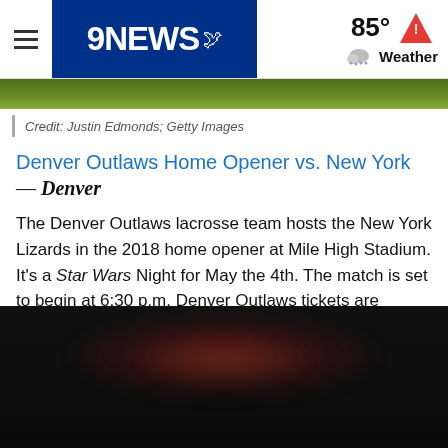9NEWS | 85° Weather
[Figure (screenshot): Green banner/strip below navigation header]
Credit: Justin Edmonds; Getty Images
Denver Outlaws Home Opener vs. New York — Denver
The Denver Outlaws lacrosse team hosts the New York Lizards in the 2018 home opener at Mile High Stadium. It's a Star Wars Night for May the 4th. The match is set to begin at 6:30 p.m. Denver Outlaws tickets are available online at Ticketmaster.com.
[Figure (photo): Dark blurred photo of lacrosse equipment at the bottom of the page]